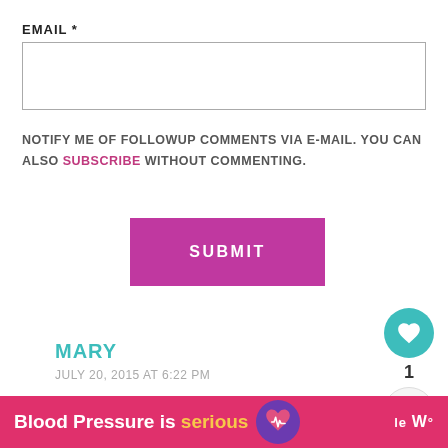EMAIL *
[Figure (screenshot): Empty email input text field with border]
NOTIFY ME OF FOLLOWUP COMMENTS VIA E-MAIL. YOU CAN ALSO SUBSCRIBE WITHOUT COMMENTING.
[Figure (other): Magenta SUBMIT button]
MARY
JULY 20, 2015 AT 6:22 PM
The sound of Lemon Ricotta Ravi... my mouth water. I'm also excited... the Roasted Corn and summer tomato
[Figure (infographic): WHAT'S NEXT arrow with Menu Plan Monday thumbnail]
[Figure (infographic): Teal heart button with count 1 and share icon below]
Blood Pressure is serious